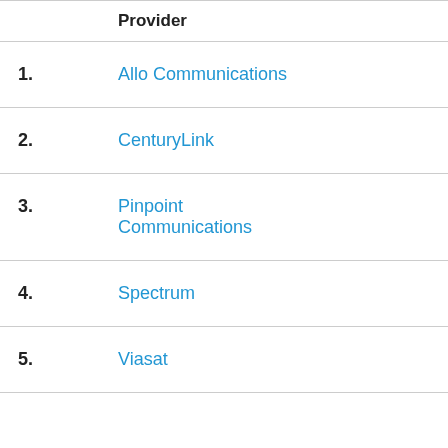|  | Provider |
| --- | --- |
| 1. | Allo Communications |
| 2. | CenturyLink |
| 3. | Pinpoint Communications |
| 4. | Spectrum |
| 5. | Viasat |